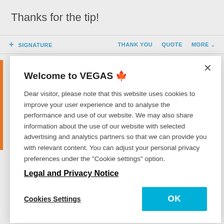Thanks for the tip!
+ SIGNATURE   THANK YOU   QUOTE   MORE
[Figure (screenshot): Cookie consent modal dialog overlay on a website. Modal contains title 'Welcome to VEGAS' with cookie notice text, 'Legal and Privacy Notice' link, 'Cookies Settings' button and 'OK' button.]
Welcome to VEGAS 🍀
Dear visitor, please note that this website uses cookies to improve your user experience and to analyse the performance and use of our website. We may also share information about the use of our website with selected advertising and analytics partners so that we can provide you with relevant content. You can adjust your personal privacy preferences under the "Cookie settings" option.
Legal and Privacy Notice
Cookies Settings   OK
does not get its due today because of the current ownership. That product was Ulead PhotoImpact and it